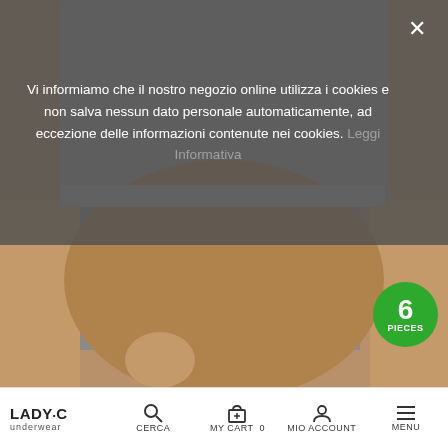[Figure (photo): Close-up photo of grey boxer shorts on a model, torso view, product page image]
Vi informiamo che il nostro negozio online utilizza i cookies e non salva nessun dato personale automaticamente, ad eccezione delle informazioni contenute nei cookies. Leggi Informativa
(6pcs) Boxer Shorts In...
€30.00
16 other products in the same category:
[Figure (photo): Grey boxer briefs with white waistband on model]
[Figure (photo): Blue patterned Marina Yachting boxer shorts]
LADY•C underwear  CERCA  MY CART 0  MIO ACCOUNT  MENU